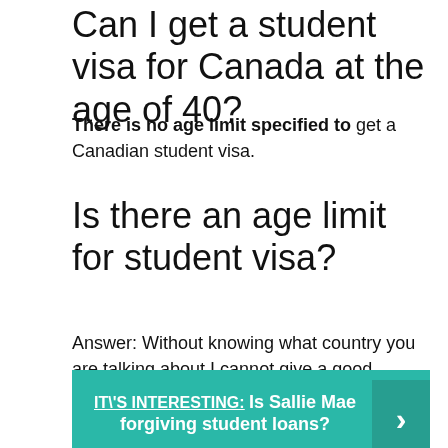Can I get a student visa for Canada at the age of 40?
There is no age limit specified to get a Canadian student visa.
Is there an age limit for student visa?
Answer: Without knowing what country you are talking about I cannot give a good answer, but usually, there is no upper age limit for student visas if you are accepted to a school abroad.
IT\'S INTERESTING:  Is Sallie Mae forgiving student loans?